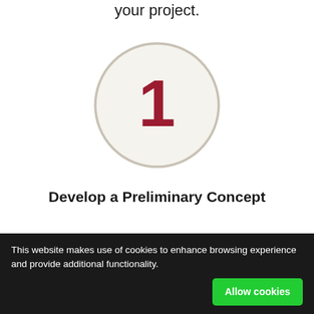your project.
[Figure (illustration): A large circle with a thin beige/gray border containing a bold red number '1' in the center.]
Develop a Preliminary Concept
Start planning for a mail and package area as early as possible
This website makes use of cookies to enhance browsing experience and provide additional functionality.